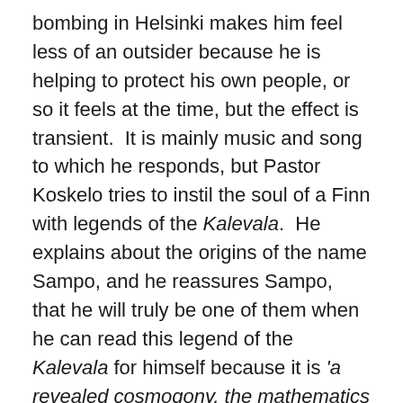bombing in Helsinki makes him feel less of an outsider because he is helping to protect his own people, or so it feels at the time, but the effect is transient.  It is mainly music and song to which he responds, but Pastor Koskelo tries to instil the soul of a Finn with legends of the Kalevala.  He explains about the origins of the name Sampo, and he reassures Sampo,  that he will truly be one of them when he can read this legend of the Kalevala for himself because it is 'a revealed cosmogony, the mathematics that holds the created world in place' (Ch 2, Loc 893).
The right word.  That's all the difference between life and death.  Memory is inseparable from words.  Words draw things out of the shadows.  Learn the words and you will recover your memory.